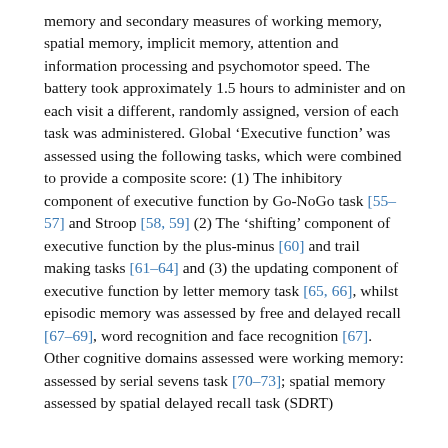memory and secondary measures of working memory, spatial memory, implicit memory, attention and information processing and psychomotor speed. The battery took approximately 1.5 hours to administer and on each visit a different, randomly assigned, version of each task was administered. Global 'Executive function' was assessed using the following tasks, which were combined to provide a composite score: (1) The inhibitory component of executive function by Go-NoGo task [55–57] and Stroop [58, 59] (2) The 'shifting' component of executive function by the plus-minus [60] and trail making tasks [61–64] and (3) the updating component of executive function by letter memory task [65, 66], whilst episodic memory was assessed by free and delayed recall [67–69], word recognition and face recognition [67]. Other cognitive domains assessed were working memory: assessed by serial sevens task [70–73]; spatial memory assessed by spatial delayed recall task (SDRT)